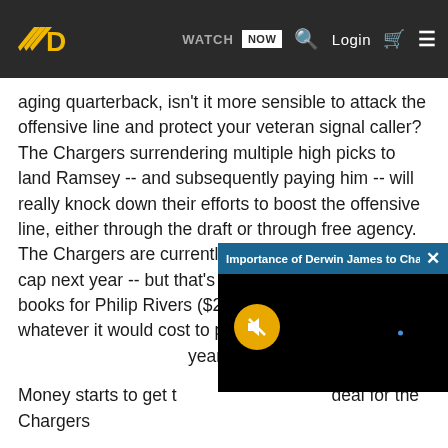WATCH NOW  Q  Login  [cart]  [menu]
aging quarterback, isn't it more sensible to attack the offensive line and protect your veteran signal caller? The Chargers surrendering multiple high picks to land Ramsey -- and subsequently paying him -- will really knock down their efforts to boost the offensive line, either through the draft or through free agency. The Chargers are currently on the books for $56M in cap next year -- but that's without anything on the books for Philip Rivers ($23M cap hit in 2019) and whatever it would cost to pay Ramsey (roughly $20M per year average).
Money starts to get tight when you make a deal for the Chargers.
[Figure (screenshot): Video popup overlay showing 'Importance of Derwin James to Charger...' with a black video screen and a yellow mute button icon]
STUD - Th